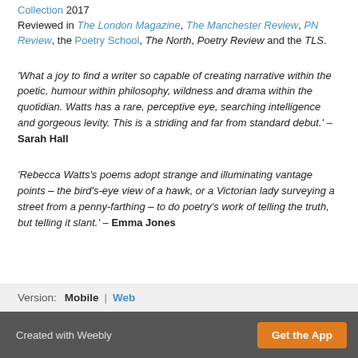Collection 2017
Reviewed in The London Magazine, The Manchester Review, PN Review, the Poetry School, The North, Poetry Review and the TLS.
'What a joy to find a writer so capable of creating narrative within the poetic, humour within philosophy, wildness and drama within the quotidian. Watts has a rare, perceptive eye, searching intelligence and gorgeous levity. This is a striding and far from standard debut.' – Sarah Hall
'Rebecca Watts's poems adopt strange and illuminating vantage points – the bird's-eye view of a hawk, or a Victorian lady surveying a street from a penny-farthing – to do poetry's work of telling the truth, but telling it slant.' – Emma Jones
Version: Mobile | Web
Created with Weebly   Get the App